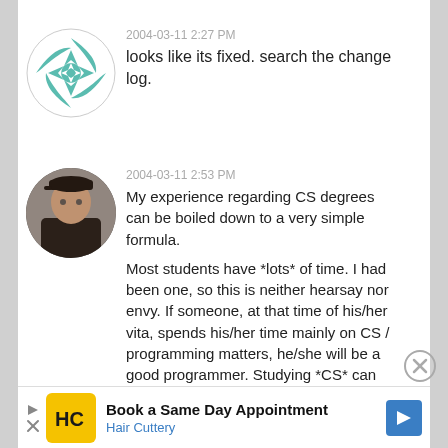[Figure (illustration): Circular avatar with teal/green geometric mandala-like pattern on white background]
2004-03-11 2:27 PM
looks like its fixed. search the change log.
[Figure (photo): Circular avatar photo of a person wearing a black cap and dark clothing]
2004-03-11 2:53 PM
My experience regarding CS degrees can be boiled down to a very simple formula.

Most students have *lots* of time. I had been one, so this is neither hearsay nor envy. If someone, at that time of his/her vita, spends his/her time mainly on CS / programming matters, he/she will be a good programmer. Studying *CS* can help, but is by no means a requirement. (The best two programmers I know have a degree in maths, not CS.)
[Figure (illustration): X close button circle icon]
[Figure (screenshot): Advertisement banner: Book a Same Day Appointment - Hair Cuttery, with HC logo and blue arrow navigation icon]